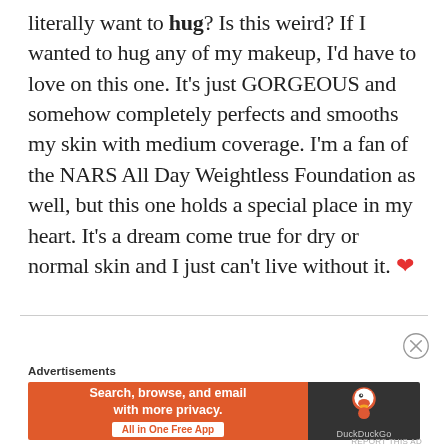literally want to hug? Is this weird? If I wanted to hug any of my makeup, I'd have to love on this one. It's just GORGEOUS and somehow completely perfects and smooths my skin with medium coverage. I'm a fan of the NARS All Day Weightless Foundation as well, but this one holds a special place in my heart. It's a dream come true for dry or normal skin and I just can't live without it. ❤
Advertisements
[Figure (screenshot): DuckDuckGo advertisement banner with orange background on left reading 'Search, browse, and email with more privacy. All in One Free App' and dark background on right with DuckDuckGo duck logo]
REPORT THIS AD